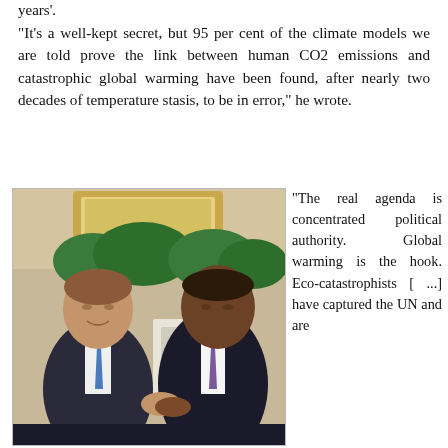years'.
“It’s a well-kept secret, but 95 per cent of the climate models we are told prove the link between human CO2 emissions and catastrophic global warming have been found, after nearly two decades of temperature stasis, to be in error,” he wrote.
[Figure (photo): Two men in suits shaking hands and smiling at each other in what appears to be an ornate official room. One man on the left wears a blue tie, the other on the right wears a purple tie. Background shows decorative gold-framed mirror and green foliage.]
“The real agenda is concentrated political authority. Global warming is the hook. Eco-catastrophists [ ...] have captured the UN and are